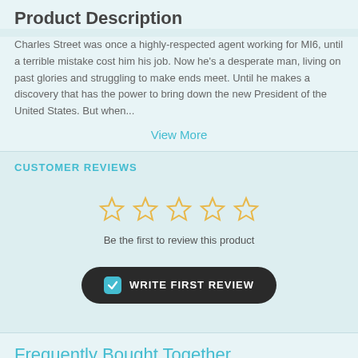Product Description
Charles Street was once a highly-respected agent working for MI6, until a terrible mistake cost him his job. Now he's a desperate man, living on past glories and struggling to make ends meet. Until he makes a discovery that has the power to bring down the new President of the United States. But when...
View More
CUSTOMER REVIEWS
[Figure (other): Five empty star rating icons in gold outline]
Be the first to review this product
WRITE FIRST REVIEW
Frequently Bought Together